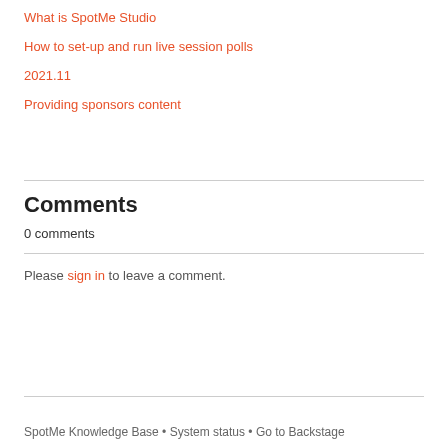What is SpotMe Studio
How to set-up and run live session polls
2021.11
Providing sponsors content
Comments
0 comments
Please sign in to leave a comment.
SpotMe Knowledge Base • System status • Go to Backstage